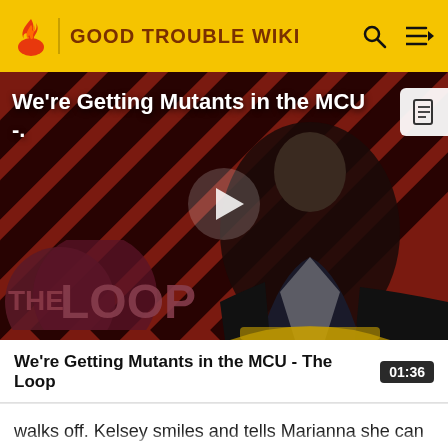GOOD TROUBLE WIKI
[Figure (screenshot): Video thumbnail showing a bald man in a suit seated in a chair, in front of a red and black diagonal striped background with 'THE LOOP' logo overlay and a play button in the center. Title text 'We're Getting Mutants in the MCU -.' overlays the top left.]
We're Getting Mutants in the MCU - The Loop  01:36
walks off. Kelsey smiles and tells Marianna she can thank her later.